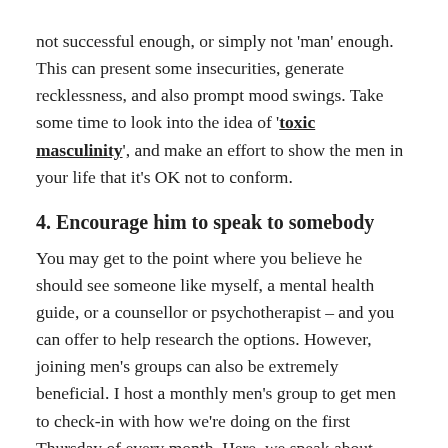not successful enough, or simply not 'man' enough. This can present some insecurities, generate recklessness, and also prompt mood swings. Take some time to look into the idea of 'toxic masculinity', and make an effort to show the men in your life that it's OK not to conform.
4. Encourage him to speak to somebody
You may get to the point where you believe he should see someone like myself, a mental health guide, or a counsellor or psychotherapist – and you can offer to help research the options. However, joining men's groups can also be extremely beneficial. I host a monthly men's group to get men to check-in with how we're doing on the first Thursday of every month. Here, we speak about everything from mental wellbeing to health, work, and relationships. Men's groups are important communities, as they help